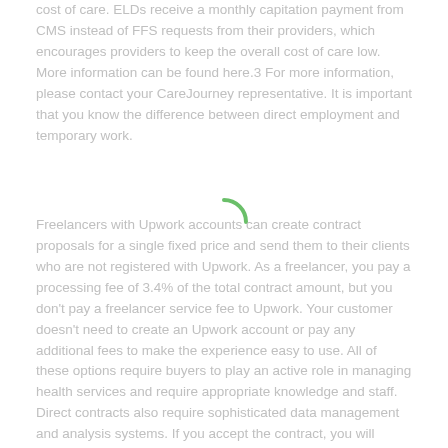cost of care. ELDs receive a monthly capitation payment from CMS instead of FFS requests from their providers, which encourages providers to keep the overall cost of care low. More information can be found here.3 For more information, please contact your CareJourney representative. It is important that you know the difference between direct employment and temporary work.
[Figure (other): Green circular spinner/loading indicator arc]
Freelancers with Upwork accounts can create contract proposals for a single fixed price and send them to their clients who are not registered with Upwork. As a freelancer, you pay a processing fee of 3.4% of the total contract amount, but you don't pay a freelancer service fee to Upwork. Your customer doesn't need to create an Upwork account or pay any additional fees to make the experience easy to use. All of these options require buyers to play an active role in managing health services and require appropriate knowledge and staff. Direct contracts also require sophisticated data management and analysis systems. If you accept the contract, you will receive a confirmation email. This email contains a link to view the contract and request termination if you decide to cancel an active contract. For companies seeking more advice on direct contracting, NAACOS has created a Direct Contracting Working Group7, and the U.S.